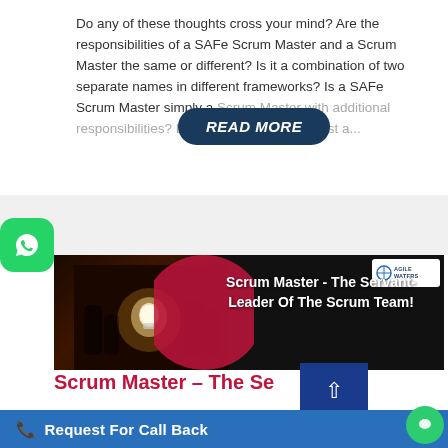Do any of these thoughts cross your mind? Are the responsibilities of a SAFe Scrum Master and a Scrum Master the same or different? Is it a combination of two separate names in different frameworks? Is a SAFe Scrum Master simply a Scrum Master with additional responsibilities? Let's compare and contrast a...
[Figure (screenshot): READ MORE button overlay on text — dark navy pill-shaped button with italic white text 'READ MORE']
[Figure (photo): Banner image showing a person holding a glowing light bulb in a dark setting with a red shape, and text overlay: 'Scrum Master - The Servant-Leader Of The Scrum Team!' with Agile Waters logo in top right corner]
Scrum Master – The Servant-Leader
Request For Call Back